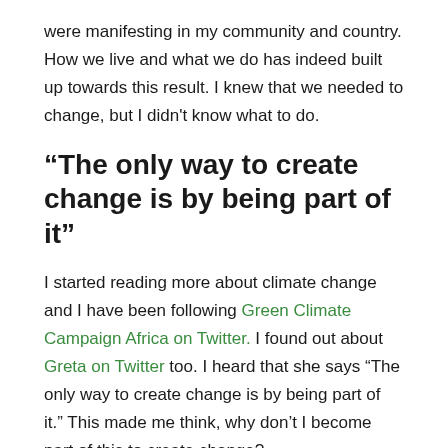were manifesting in my community and country. How we live and what we do has indeed built up towards this result. I knew that we needed to change, but I didn't know what to do.
“The only way to create change is by being part of it”
I started reading more about climate change and I have been following Green Climate Campaign Africa on Twitter. I found out about Greta on Twitter too. I heard that she says “The only way to create change is by being part of it.” This made me think, why don’t I become part of this to create change?
My friends didn’t want to stand on the streets so I did my first strike alone in front of the university. I felt scared and thought maybe I was doing something wrong. But I felt responsible and